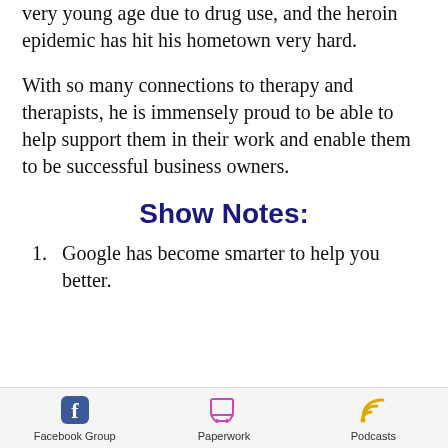very young age due to drug use, and the heroin epidemic has hit his hometown very hard.
With so many connections to therapy and therapists, he is immensely proud to be able to help support them in their work and enable them to be successful business owners.
Show Notes:
1. Google has become smarter to help you better.
Facebook Group   Paperwork   Podcasts